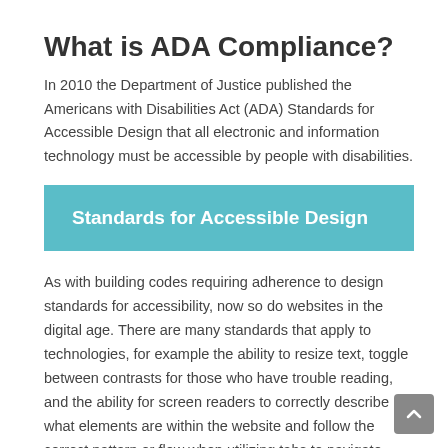What is ADA Compliance?
In 2010 the Department of Justice published the Americans with Disabilities Act (ADA) Standards for Accessible Design that all electronic and information technology must be accessible by people with disabilities.
Standards for Accessible Design
As with building codes requiring adherence to design standards for accessibility, now so do websites in the digital age. There are many standards that apply to technologies, for example the ability to resize text, toggle between contrasts for those who have trouble reading, and the ability for screen readers to correctly describe what elements are within the website and follow the correct pattern or flow when utilizing tabs to navigate through a web page.